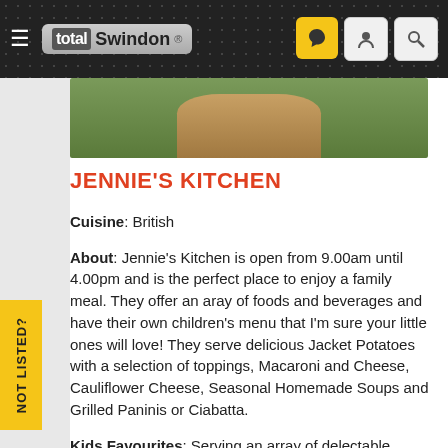total Swindon ®
[Figure (photo): Hero image showing a grassy outdoor scene with an animal]
JENNIE'S KITCHEN
Cuisine: British
About: Jennie's Kitchen is open from 9.00am until 4.00pm and is the perfect place to enjoy a family meal. They offer an aray of foods and beverages and have their own children's menu that I'm sure your little ones will love! They serve delicious Jacket Potatoes with a selection of toppings, Macaroni and Cheese, Cauliflower Cheese, Seasonal Homemade Soups and Grilled Paninis or Ciabatta.
Kids Favourites: Serving an array of delectable dishes that are perfect your little ones such as macaroni or cauliflower Cheese, jacket potatoes and scrumptious toasties. Plus, they have an assortment of mouth-watering cakes.
Menu: Click here